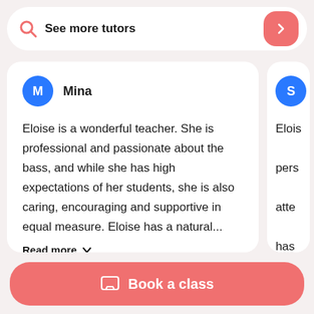See more tutors
Mina
Eloise is a wonderful teacher. She is professional and passionate about the bass, and while she has high expectations of her students, she is also caring, encouraging and supportive in equal measure. Eloise has a natural...
Read more
Book a class